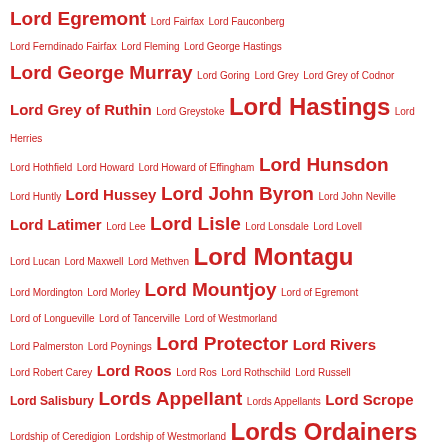Lord Egremont Lord Fairfax Lord Fauconberg Lord Ferndinado Fairfax Lord Fleming Lord George Hastings Lord George Murray Lord Goring Lord Grey Lord Grey of Codnor Lord Grey of Ruthin Lord Greystoke Lord Hastings Lord Herries Lord Hothfield Lord Howard Lord Howard of Effingham Lord Hunsdon Lord Huntly Lord Hussey Lord John Byron Lord John Neville Lord Latimer Lord Lee Lord Lisle Lord Lonsdale Lord Lovell Lord Lucan Lord Maxwell Lord Methven Lord Montagu Lord Mordington Lord Morley Lord Mountjoy Lord of Egremont Lord of Longueville Lord of Tancerville Lord of Westmorland Lord Palmerston Lord Poynings Lord Protector Lord Rivers Lord Robert Carey Lord Roos Lord Ros Lord Rothschild Lord Russell Lord Salisbury Lords Appellant Lords Appellants Lord Scrope Lordship of Ceredigion Lordship of Westmorland Lords Ordainers Lord Stanley Lord Strange Lord Sudeley Lord Thomas Grey Lord Thomas Howard Lord Thomas Stanley Lord Warden Lord Welles Lord Wells Lord Wharton Lord William Bonville Lord William Howard Lord Willoughby Lost Boy of Egremont Louis d'Orleans Louis IX of France Louis XIV Louis XV